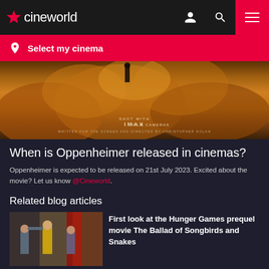cineworld
Select my cinema
[Figure (photo): Oppenheimer movie banner - dramatic explosion clouds with text: SHOT WITH IMAX FILM CAMERAS, WRITTEN FOR THE SCREEN AND DIRECTED BY CHRISTOPHER NOLAN]
When is Oppenheimer released in cinemas?
Oppenheimer is expected to be released on 21st July 2023. Excited about the movie? Let us know @Cineworld.
Related blog articles
[Figure (photo): Thumbnail image showing cast from The Hunger Games prequel movie]
First look at the Hunger Games prequel movie The Ballad of Songbirds and Snakes